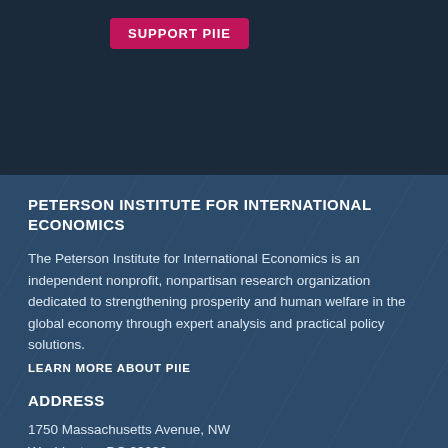[Figure (other): Dark navy blue top banner section with a pink/crimson 'SUPPORT PIIE' button]
PETERSON INSTITUTE FOR INTERNATIONAL ECONOMICS
The Peterson Institute for International Economics is an independent nonprofit, nonpartisan research organization dedicated to strengthening prosperity and human welfare in the global economy through expert analysis and practical policy solutions.
LEARN MORE ABOUT PIIE
ADDRESS
1750 Massachusetts Avenue, NW
Washington, DC 20036